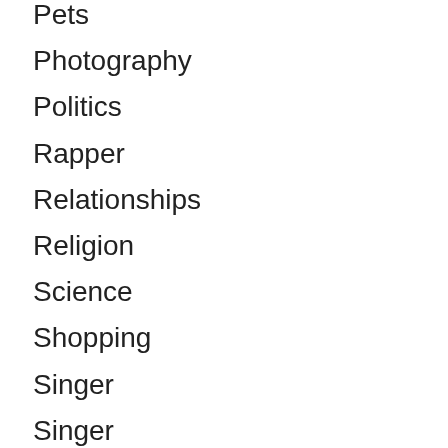Pets
Photography
Politics
Rapper
Relationships
Religion
Science
Shopping
Singer
Singer
Skincare
Soccer
Social Identity
Social Identity
Sports
Sports Men